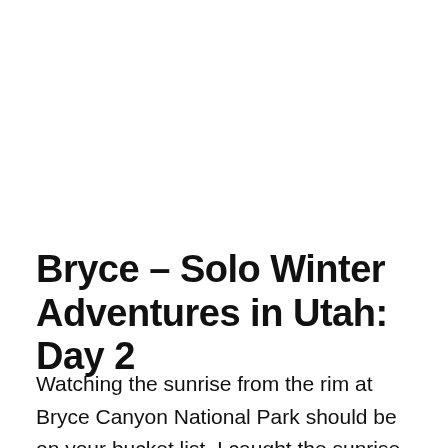Bryce – Solo Winter Adventures in Utah: Day 2
Watching the sunrise from the rim at Bryce Canyon National Park should be on your bucket list. I caught the sunrise both from the rim (Inspiration Point on Day 1) and below the rim among the hoodoos (Queen's Garden Trail